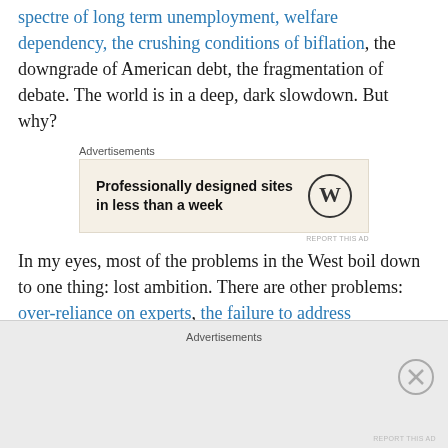spectre of long term unemployment, welfare dependency, the crushing conditions of biflation, the downgrade of American debt, the fragmentation of debate. The world is in a deep, dark slowdown. But why?
[Figure (other): Advertisement box: WordPress ad reading 'Professionally designed sites in less than a week' with WordPress logo]
In my eyes, most of the problems in the West boil down to one thing: lost ambition. There are other problems: over-reliance on experts, the failure to address underlying social and structural problems, corporate handouts, the dominance of the military industrial complex, over-reliance on the service industries, the failure of government and
[Figure (other): Bottom advertisement bar with 'Advertisements' label]